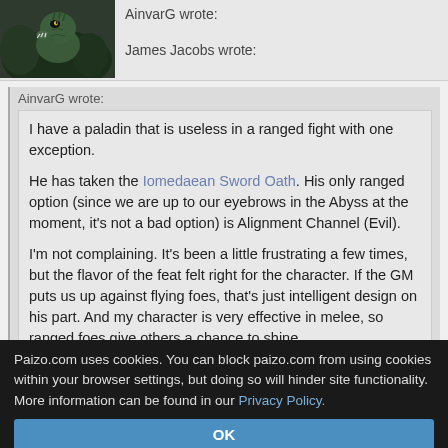[Figure (illustration): Forum user avatar showing a fantasy dragon/dinosaur-like creature with green scales and sharp teeth.]
AinvarG wrote:
James Jacobs wrote:
AinvarG wrote:
I have a paladin that is useless in a ranged fight with one exception.

He has taken the Iomedaean Sword Oath. His only ranged option (since we are up to our eyebrows in the Abyss at the moment, it's not a bad option) is Alignment Channel (Evil).

I'm not complaining. It's been a little frustrating a few times, but the flavor of the feat felt right for the character. If the GM puts us up against flying foes, that's just intelligent design on his part. And my character is very effective in melee, so ranged foes give others a chance to shine.
Paizo.com uses cookies. You can block paizo.com from using cookies within your browser settings, but doing so will hinder site functionality. More information can be found in our Privacy Policy.
OK